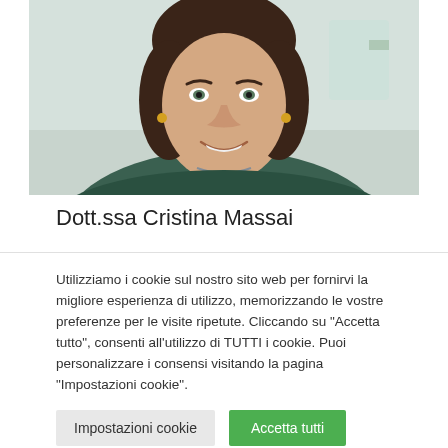[Figure (photo): Portrait photo of Dott.ssa Cristina Massai, a woman with dark hair, smiling, wearing a dark teal ruffled top and a necklace, photographed in a bright indoor setting.]
Dott.ssa Cristina Massai
Utilizziamo i cookie sul nostro sito web per fornirvi la migliore esperienza di utilizzo, memorizzando le vostre preferenze per le visite ripetute. Cliccando su "Accetta tutto", consenti all'utilizzo di TUTTI i cookie. Puoi personalizzare i consensi visitando la pagina "Impostazioni cookie".